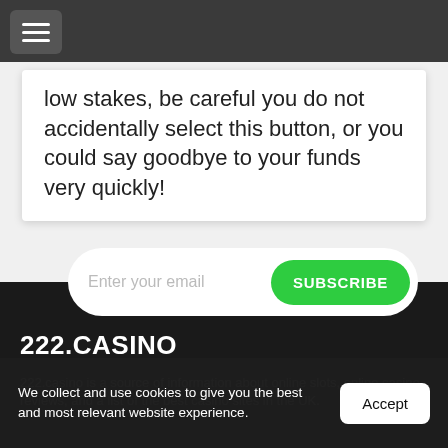[Figure (screenshot): Navigation bar with hamburger menu icon on dark grey background]
low stakes, be careful you do not accidentally select this button, or you could say goodbye to your funds very quickly!
[Figure (screenshot): Email subscribe bar with placeholder 'Enter your email' and green SUBSCRIBE button]
222.CASINO
222.casino is a source of information about online slots, online casino reviews, casino bonuses, and a list of the best casino sites in the UK.
We collect and use cookies to give you the best and most relevant website experience.
[Figure (screenshot): Accept button for cookie consent banner]